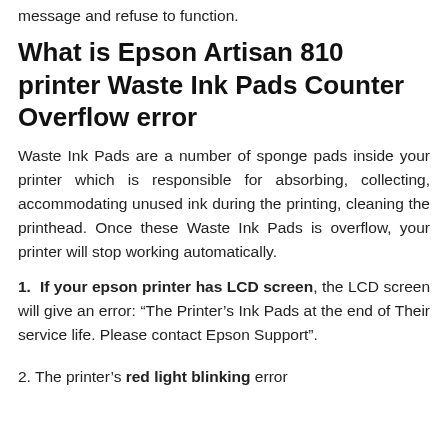message and refuse to function.
What is Epson Artisan 810 printer Waste Ink Pads Counter Overflow error
Waste Ink Pads are a number of sponge pads inside your printer which is responsible for absorbing, collecting, accommodating unused ink during the printing, cleaning the printhead. Once these Waste Ink Pads is overflow, your printer will stop working automatically.
1. If your epson printer has LCD screen, the LCD screen will give an error: “The Printer’s Ink Pads at the end of Their service life. Please contact Epson Support”.
2. The printer’s red light blinking error